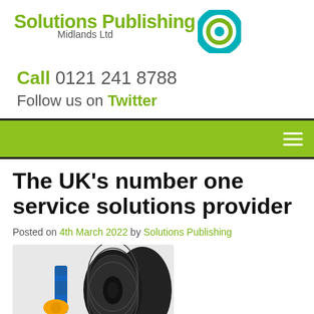[Figure (logo): Solutions Publishing Midlands Ltd logo with green text and teal circular icon]
Call 0121 241 8788
Follow us on Twitter
[Figure (other): Green navigation bar with hamburger menu icon on the right]
The UK's number one service solutions provider
Posted on 4th March 2022 by Solutions Publishing
[Figure (photo): Photo of black rolled industrial pipe/tubing with blue and yellow fittings]